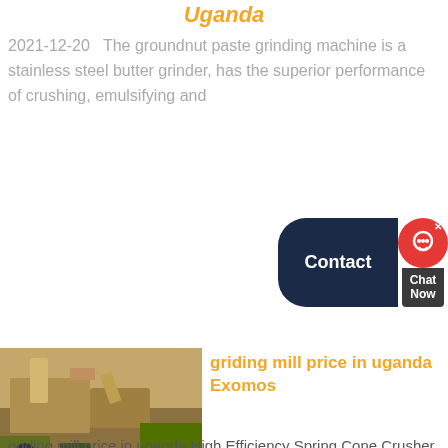Uganda
2021-12-20   The groundnut paste grinding machine is a stainless steel butter grinder, has the superior performance of crushing, emulsifying and
[Figure (other): Contact button widget with dark navy rounded button labeled 'Contact' and a red circle chat icon with 'Chat Now' label below]
[Figure (photo): Photograph of a mining/crushing machine or mill equipment at an outdoor site]
griding mill price in uganda Exomos
griding mill price in uganda High Efficiency Spring Cone Crusher. ballmilltorque dual pinion failure mining ore crush hardness kolkata mobile jaw crusher mc 160 prrpricegold mining business plan project in south africa how much aregrinding millsin